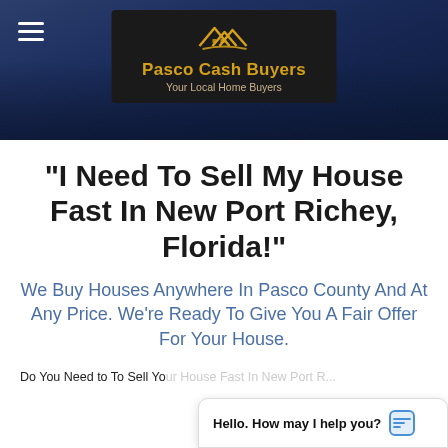[Figure (screenshot): Website header with dark blue background showing a house exterior photo. Hamburger menu icon on left. Center logo box with house/mountain icon in gold, 'Pasco Cash Buyers' in gold text, 'Your Local Home Buyers' in tan text on dark background.]
“I Need To Sell My House Fast In New Port Richey, Florida!”
We Buy Houses Anywhere In Pasco County And At Any Price. We’re Ready To Give You A Fair Offer For Your House.
Do You Need to To Sell Yo...
Hello. How may I help you?